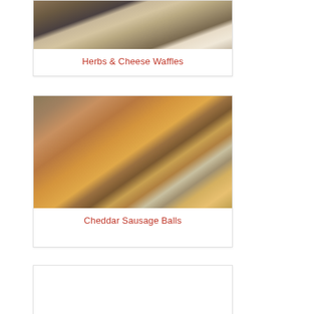[Figure (photo): Top portion of a food photo showing a cast iron skillet with Herbs & Cheese Waffles on a striped cloth]
Herbs & Cheese Waffles
[Figure (photo): Photo of Cheddar Sausage Balls on a black plate with a dipping sauce bowl, on a wooden surface with yellow napkin]
Cheddar Sausage Balls
[Figure (photo): Partially visible third food card, mostly white/blank]